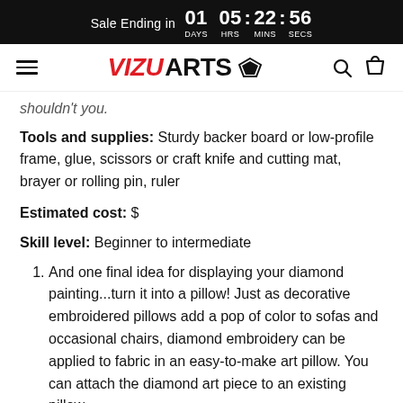Sale Ending in 01 DAYS 05 HRS : 22 MINS : 56 SECS
[Figure (logo): VizuArts logo with hamburger menu, search icon, and cart icon navigation bar]
shouldn't you.
Tools and supplies: Sturdy backer board or low-profile frame, glue, scissors or craft knife and cutting mat, brayer or rolling pin, ruler
Estimated cost: $
Skill level: Beginner to intermediate
And one final idea for displaying your diamond painting...turn it into a pillow! Just as decorative embroidered pillows add a pop of color to sofas and occasional chairs, diamond embroidery can be applied to fabric in an easy-to-make art pillow. You can attach the diamond art piece to an existing pillow